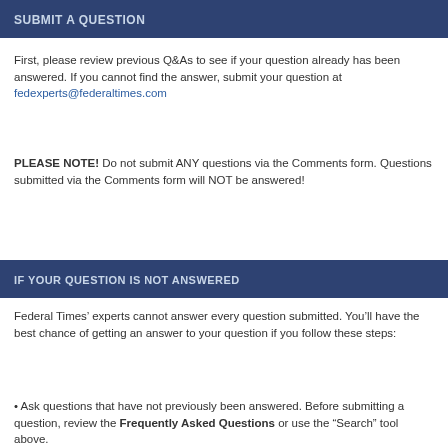SUBMIT A QUESTION
First, please review previous Q&As to see if your question already has been answered. If you cannot find the answer, submit your question at fedexperts@federaltimes.com
PLEASE NOTE! Do not submit ANY questions via the Comments form. Questions submitted via the Comments form will NOT be answered!
IF YOUR QUESTION IS NOT ANSWERED
Federal Times’ experts cannot answer every question submitted. You’ll have the best chance of getting an answer to your question if you follow these steps:
• Ask questions that have not previously been answered. Before submitting a question, review the Frequently Asked Questions or use the “Search” tool above.